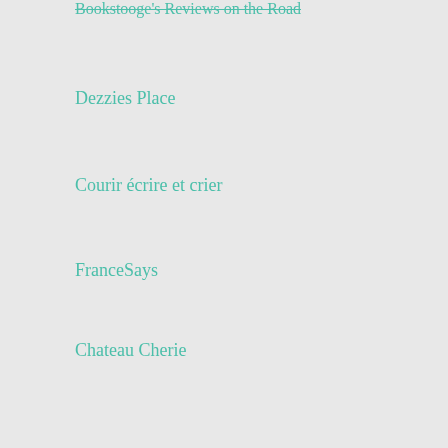Bookstooge's Reviews on the Road
Dezzies Place
Courir écrire et crier
FranceSays
Chateau Cherie
ARCHIVES
August 2022
July 2022